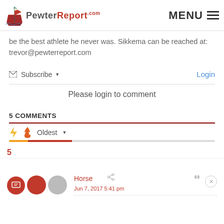PewterReport.com MENU
be the best athlete he never was. Sikkema can be reached at: trevor@pewterreport.com
Subscribe ▾   Login
Please login to comment
5 COMMENTS
⚡ 🔥 Oldest ▾
5
Horse
Jun 7, 2017 5:41 pm